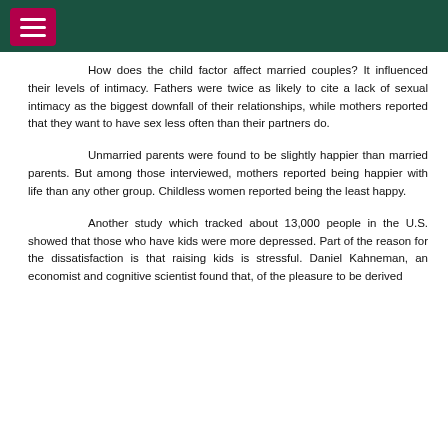≡ (menu icon on dark green bar)
How does the child factor affect married couples? It influenced their levels of intimacy. Fathers were twice as likely to cite a lack of sexual intimacy as the biggest downfall of their relationships, while mothers reported that they want to have sex less often than their partners do.
Unmarried parents were found to be slightly happier than married parents. But among those interviewed, mothers reported being happier with life than any other group. Childless women reported being the least happy.
Another study which tracked about 13,000 people in the U.S. showed that those who have kids were more depressed. Part of the reason for the dissatisfaction is that raising kids is stressful. Daniel Kahneman, an economist and cognitive scientist found that, of the pleasure to be derived